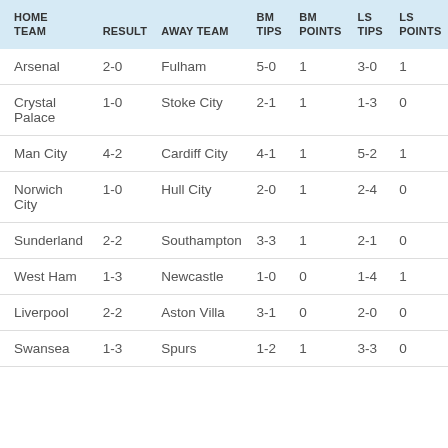| HOME TEAM | RESULT | AWAY TEAM | BM TIPS | BM POINTS | LS TIPS | LS POINTS |
| --- | --- | --- | --- | --- | --- | --- |
| Arsenal | 2-0 | Fulham | 5-0 | 1 | 3-0 | 1 |
| Crystal Palace | 1-0 | Stoke City | 2-1 | 1 | 1-3 | 0 |
| Man City | 4-2 | Cardiff City | 4-1 | 1 | 5-2 | 1 |
| Norwich City | 1-0 | Hull City | 2-0 | 1 | 2-4 | 0 |
| Sunderland | 2-2 | Southampton | 3-3 | 1 | 2-1 | 0 |
| West Ham | 1-3 | Newcastle | 1-0 | 0 | 1-4 | 1 |
| Liverpool | 2-2 | Aston Villa | 3-1 | 0 | 2-0 | 0 |
| Swansea | 1-3 | Spurs | 1-2 | 1 | 3-3 | 0 |